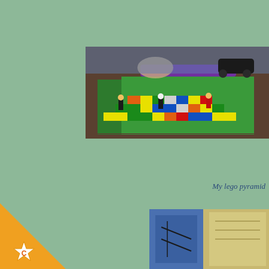[Figure (photo): Photograph of colorful LEGO bricks arranged in a pyramid pattern on a table, with LEGO minifigures placed around it and a hand visible placing pieces. Colors include green, yellow, red, blue, purple, and orange bricks.]
My lego pyramid
[Figure (photo): Partial photograph of what appears to be a hand-drawn or crafted item, visible in the bottom-right corner of the page.]
[Figure (illustration): Orange triangle corner decoration in the bottom-left with a white star/badge symbol labeled C.]